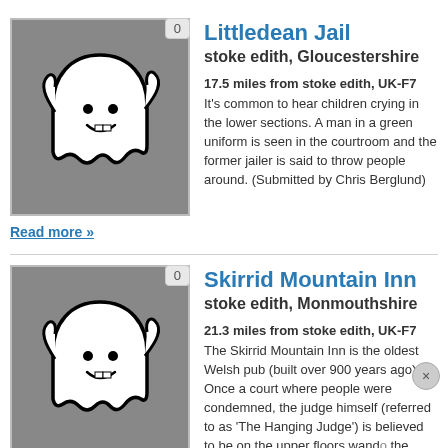[Figure (illustration): Ghost cartoon image on grey background with badge showing 0]
Littledean Jail
stoke edith, Gloucestershire
17.5 miles from stoke edith, UK-F7
It's common to hear children crying in the lower sections. A man in a green uniform is seen in the courtroom and the former jailer is said to throw people around. (Submitted by Chris Berglund)
Read more »
[Figure (illustration): Ghost cartoon image on grey background with badge showing 0]
Skirrid Mountain Inn
stoke edith, Monmouthshire
21.3 miles from stoke edith, UK-F7
The Skirrid Mountain Inn is the oldest Welsh pub (built over 900 years ago). Once a court where people were condemned, the judge himself (referred to as 'The Hanging Judge') is believed to be on the upper floors wand... the hangman who worked alongside the judg...